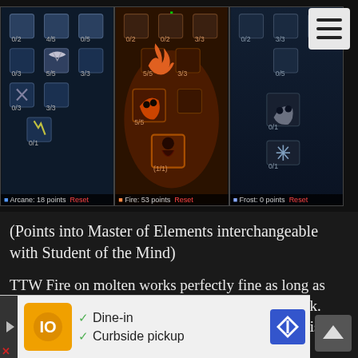[Figure (screenshot): World of Warcraft talent tree screenshot showing three panels: Arcane 18 points, Fire 53 points, Frost 0 points. Hamburger menu icon in top-right corner.]
(Points into Master of Elements interchangeable with Student of the Mind)
TTW Fire on molten works perfectly fine as long as you fulfill the requirements for Torment The Weak. This generally means having a DK. With a DK this scales almost exactly as it does on Retail with the exception of ignite. (Described in a later post by Chocohole (Lucideto)). The point in master of elements is a free point which can be placed based on needs. Most commonly changed for Blast Wave whi... sha...
[Figure (screenshot): Advertisement banner showing restaurant dine-in and curbside pickup options with logo, checkmarks, and navigation arrow icon.]